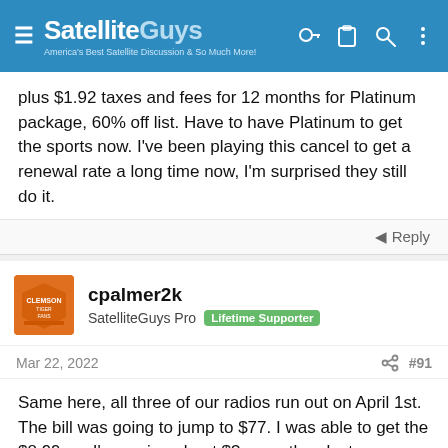SatelliteGuys — America's Best Satellite Discussion & So Much More!
plus $1.92 taxes and fees for 12 months for Platinum package, 60% off list. Have to have Platinum to get the sports now. I've been playing this cancel to get a renewal rate a long time now, I'm surprised they still do it.
Reply
cpalmer2k
SatelliteGuys Pro  Lifetime Supporter
Mar 22, 2022  #91
Same here, all three of our radios run out on April 1st. The bill was going to jump to $77. I was able to get the $8.99, so I'm paying about $3 more than last year or around $35 combined for all three radios.